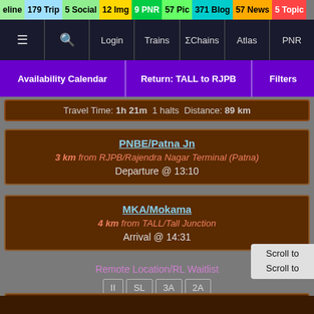eline 179 Trip 5 Social 12 Img 9 PNR 57 Pic 371 Blog 57 News 5 Topic
≡ 🔍 Login Trains ΣChains Atlas PNR
Availability Calendar | Return: TALL to RJPB | Filters
Travel Time: 1h 21m  1 halts  Distance: 89 km
PNBE/Patna Jn
3 km from RJPB/Rajendra Nagar Terminal (Patna)
Departure @ 13:10
MKA/Mokama
4 km from TALL/Tall Junction
Arrival @ 14:31
Remote Location/RL Waitlist
II  SL  3A  2A
Dep Time Changed. Arr Time Changed. Speeded up by: 12m.
TT Updated: Jun 12 (17:06) by KarnavatiExpress^~
Scroll to
Scroll to